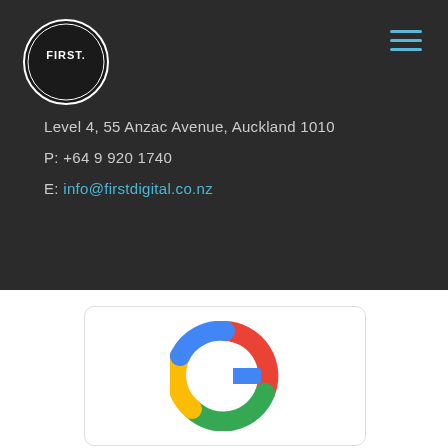[Figure (logo): FIRST. logo — white text on black circle with double border ring]
[Figure (other): Hamburger menu icon — three horizontal blue lines]
Level 4, 55 Anzac Avenue, Auckland 1010
P: +64 9 920 1740
E: info@firstdigital.co.nz
[Figure (logo): Google 'G' logo in red, yellow, green, blue colors inside a white rounded card]